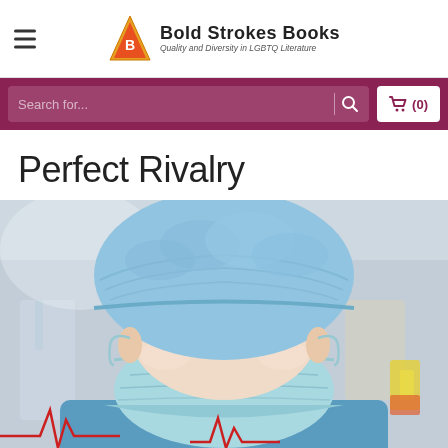Bold Strokes Books — Quality and Diversity in LGBTQ Literature
Search for...
Perfect Rivalry
[Figure (photo): Close-up photo of a person wearing blue surgical cap and light blue surgical mask, looking directly at the camera. Medical/operating room background. Red ECG heartbeat lines visible at bottom of image.]